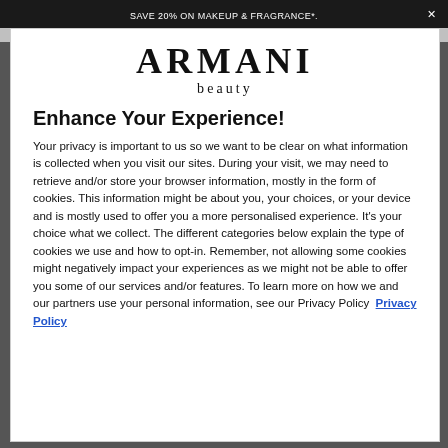SAVE 20% ON MAKEUP & FRAGRANCE*.
[Figure (logo): Armani beauty logo — ARMANI in large serif bold, 'beauty' in smaller spaced serif below]
Enhance Your Experience!
Your privacy is important to us so we want to be clear on what information is collected when you visit our sites. During your visit, we may need to retrieve and/or store your browser information, mostly in the form of cookies. This information might be about you, your choices, or your device and is mostly used to offer you a more personalised experience. It's your choice what we collect. The different categories below explain the type of cookies we use and how to opt-in. Remember, not allowing some cookies might negatively impact your experiences as we might not be able to offer you some of our services and/or features. To learn more on how we and our partners use your personal information, see our Privacy Policy Privacy Policy